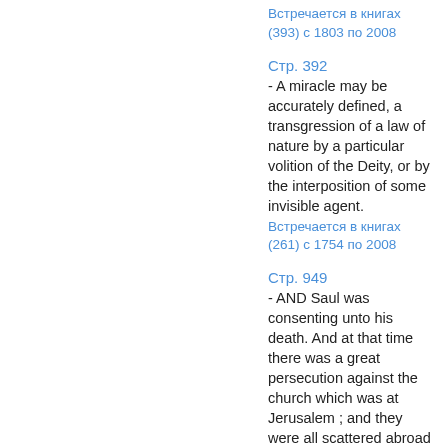Встречается в книгах (393) с 1803 по 2008
Стр. 392 - A miracle may be accurately defined, a transgression of a law of nature by a particular volition of the Deity, or by the interposition of some invisible agent.
Встречается в книгах (261) с 1754 по 2008
Стр. 949 - AND Saul was consenting unto his death. And at that time there was a great persecution against the church which was at Jerusalem ; and they were all scattered abroad throughout the regions of Judea and Samaria.